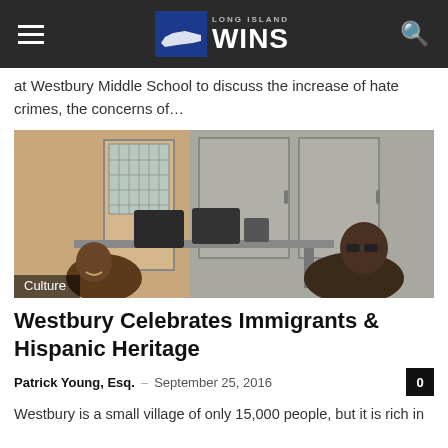Long Island WINS
at Westbury Middle School to discuss the increase of hate crimes, the concerns of...
[Figure (photo): Two people sitting indoors at a table in a room with wooden cabinets and a gridded glass door. A 'Culture' badge overlay appears at the bottom left.]
Westbury Celebrates Immigrants & Hispanic Heritage
Patrick Young, Esq. - September 25, 2016
Westbury is a small village of only 15,000 people, but it is rich in